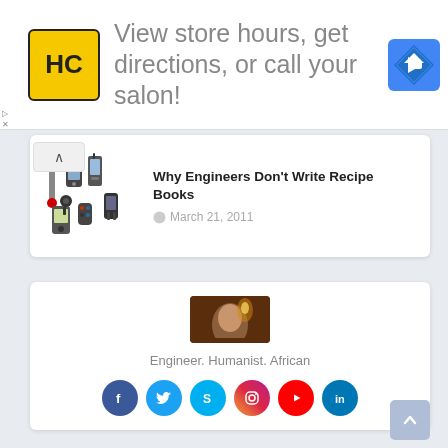[Figure (infographic): Advertisement banner with HC logo (yellow square with black HC letters), text 'View store hours, get directions, or call your salon!', and a blue diamond navigation arrow icon on the right. Small ad labels on the left edge.]
[Figure (screenshot): Article card with thumbnail showing electronic gadgets (phones, meters) and title 'Why Engineers Don't Write Recipe Books' dated March 21, 2011. Toggle arrow button at top left of card.]
[Figure (infographic): Profile card with a dark amber/brown avatar photo, bio text 'Engineer. Humanist. African', and six social media icons: Facebook, Twitter, Skype, Instagram, YouTube, LinkedIn.]